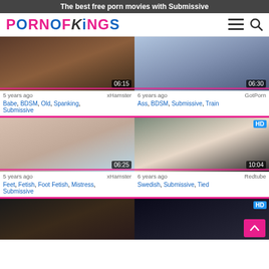The best free porn movies with Submissive
[Figure (screenshot): PornOfKings website logo with hamburger menu and search icons]
[Figure (screenshot): Video thumbnail 1 with duration 06:15]
5 years ago   xHamster
Babe, BDSM, Old, Spanking, Submissive
[Figure (screenshot): Video thumbnail 2 with duration 06:30]
6 years ago   GotPorn
Ass, BDSM, Submissive, Train
[Figure (screenshot): Video thumbnail 3 with duration 06:25]
5 years ago   xHamster
Feet, Fetish, Foot Fetish, Mistress, Submissive
[Figure (screenshot): Video thumbnail 4 HD with duration 10:04]
6 years ago   Redtube
Swedish, Submissive, Tied
[Figure (screenshot): Video thumbnail 5, bottom left]
[Figure (screenshot): Video thumbnail 6, bottom right with HD badge]